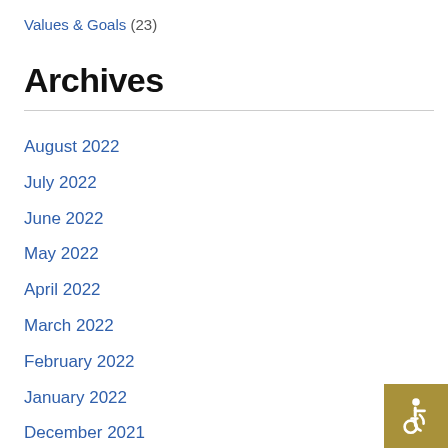Values & Goals (23)
Archives
August 2022
July 2022
June 2022
May 2022
April 2022
March 2022
February 2022
January 2022
December 2021
November 2021
[Figure (logo): Accessibility icon button — wheelchair symbol on gold/tan background, bottom right corner]